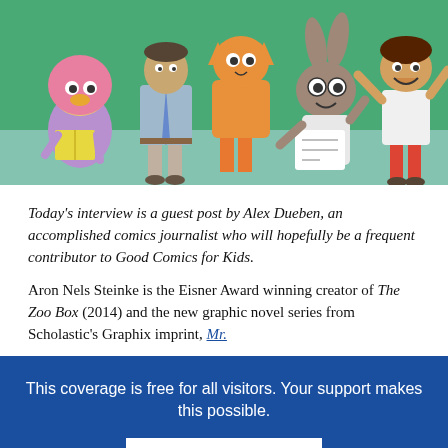[Figure (illustration): Cartoon illustration of diverse animated characters including a duck-like character in a pink hijab reading a book, a person in business attire, an orange cat-like character, a rabbit character holding paper, and a character with arms raised, all in front of a green background]
Today’s interview is a guest post by Alex Dueben, an accomplished comics journalist who will hopefully be a frequent contributor to Good Comics for Kids.
Aron Nels Steinke is the Eisner Award winning creator of The Zoo Box (2014) and the new graphic novel series from Scholastic’s Graphix imprint, Mr.
This coverage is free for all visitors. Your support makes this possible.
SUBSCRIBE